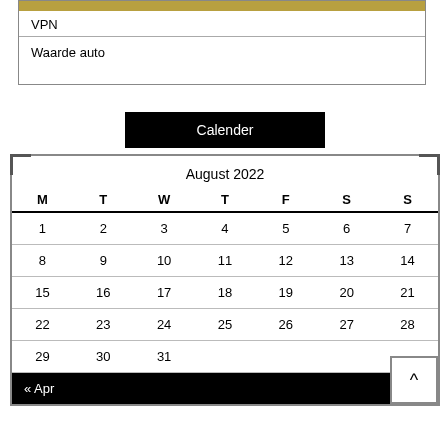VPN
Waarde auto
Calender
| M | T | W | T | F | S | S |
| --- | --- | --- | --- | --- | --- | --- |
| 1 | 2 | 3 | 4 | 5 | 6 | 7 |
| 8 | 9 | 10 | 11 | 12 | 13 | 14 |
| 15 | 16 | 17 | 18 | 19 | 20 | 21 |
| 22 | 23 | 24 | 25 | 26 | 27 | 28 |
| 29 | 30 | 31 |  |  |  |  |
« Apr